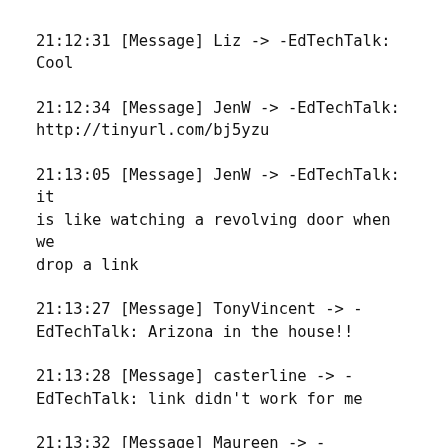21:12:31 [Message] Liz -> -EdTechTalk: Cool
21:12:34 [Message] JenW -> -EdTechTalk: http://tinyurl.com/bj5yzu
21:13:05 [Message] JenW -> -EdTechTalk: it is like watching a revolving door when we drop a link
21:13:27 [Message] TonyVincent -> -EdTechTalk: Arizona in the house!!
21:13:28 [Message] casterline -> -EdTechTalk: link didn't work for me
21:13:32 [Message] Maureen -> -EdTechTalk: Gion, the tinyurl doesn't work